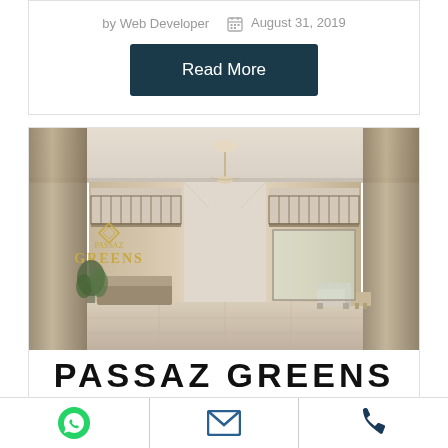by Web Developer   August 31, 2019
Read More
[Figure (photo): Interior lobby of Passaz Greens building showing a reception area with decorative gold lettering 'GREENS', ornate balconies, chandelier, marble floors, and seating area]
PASSAZ GREENS
[Figure (other): Footer contact icons: WhatsApp (green), Email (blue), Phone (dark blue)]